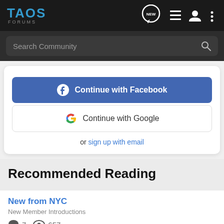TAOS FORUMS
Search Community
Continue with Facebook
Continue with Google
or sign up with email
Recommended Reading
New from NYC
New Member Introductions
7   657